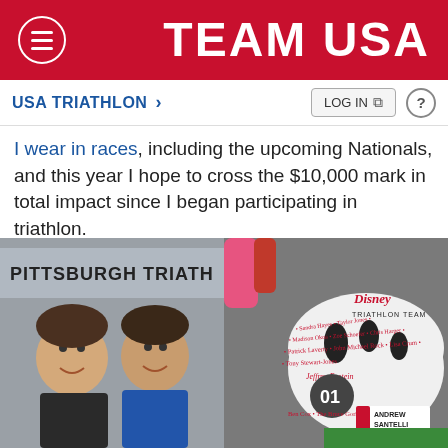TEAM USA
USA TRIATHLON >
I wear in races, including the upcoming Nationals, and this year I hope to cross the $10,000 mark in total impact since I began participating in triathlon.
[Figure (photo): Two men smiling at the Pittsburgh Triathlon event, wearing athletic gear.]
[Figure (photo): Close-up of a white triathlon cycling helmet with names written on it in red marker, Disney Triathlon Team logo, number 01, and Andrew Santelli label. Names visible include Jeffrey Epstein, Patrick Laverty, John Michael Rock, Tony Stewart-Jones, Ben Cox, The Bruce Gorlos, and others.]